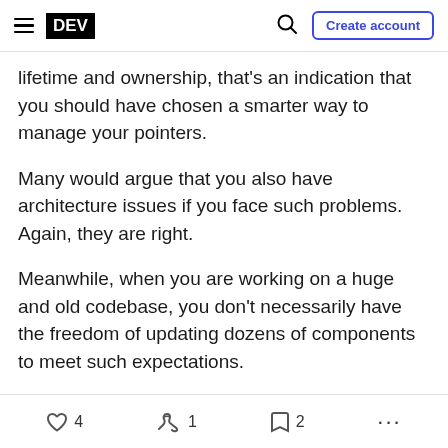DEV | Create account
lifetime and ownership, that's an indication that you should have chosen a smarter way to manage your pointers.
Many would argue that you also have architecture issues if you face such problems. Again, they are right.
Meanwhile, when you are working on a huge and old codebase, you don't necessarily have the freedom of updating dozens of components to meet such expectations.
Let's assume that we have a container of pointers
4  1  2  ...